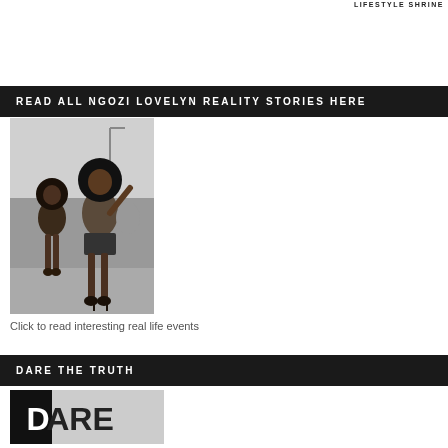LIFESTYLE SHRINE
READ ALL NGOZI LOVELYN REALITY STORIES HERE
[Figure (photo): Black and white photo of two women with large afro hairstyles standing on a street, wearing fashionable outfits and high heels]
Click to read interesting real life events
DARE THE TRUTH
[Figure (photo): Dark image with large white text reading DARE, partially cropped, on a grey background]